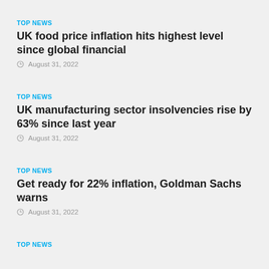TOP NEWS
UK food price inflation hits highest level since global financial
August 31, 2022
TOP NEWS
UK manufacturing sector insolvencies rise by 63% since last year
August 31, 2022
TOP NEWS
Get ready for 22% inflation, Goldman Sachs warns
August 31, 2022
TOP NEWS